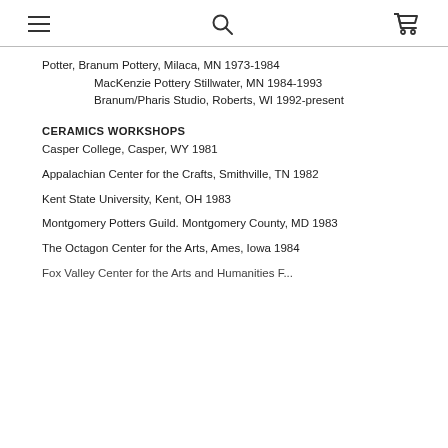[navigation icons: hamburger menu, search, cart]
Potter, Branum Pottery, Milaca, MN 1973-1984
    MacKenzie Pottery Stillwater, MN 1984-1993
    Branum/Pharis Studio, Roberts, WI 1992-present
CERAMICS WORKSHOPS
Casper College, Casper, WY 1981
Appalachian Center for the Crafts, Smithville, TN 1982
Kent State University, Kent, OH 1983
Montgomery Potters Guild. Montgomery County, MD 1983
The Octagon Center for the Arts, Ames, Iowa 1984
Fox Valley Center for the Arts and Humanities F...